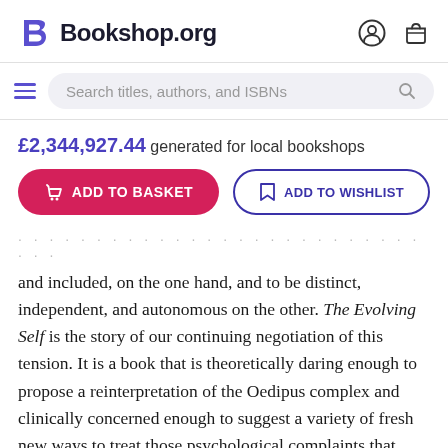Bookshop.org
Search titles, authors, and ISBNs
£2,344,927.44 generated for local bookshops
ADD TO BASKET
ADD TO WISHLIST
and included, on the one hand, and to be distinct, independent, and autonomous on the other. The Evolving Self is the story of our continuing negotiation of this tension. It is a book that is theoretically daring enough to propose a reinterpretation of the Oedipus complex and clinically concerned enough to suggest a variety of fresh new ways to treat those psychological complaints that commonly arise in the course of development.